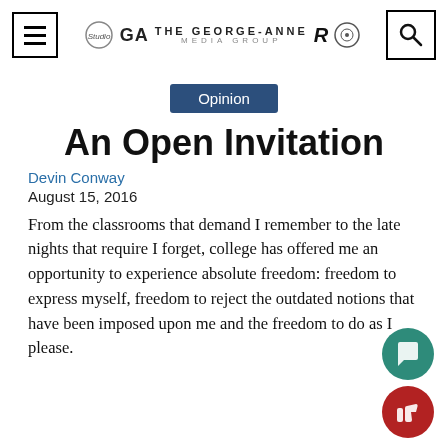The George-Anne Media Group
Opinion
An Open Invitation
Devin Conway
August 15, 2016
From the classrooms that demand I remember to the late nights that require I forget, college has offered me an opportunity to experience absolute freedom: freedom to express myself, freedom to reject the outdated notions that have been imposed upon me and the freedom to do as I please.